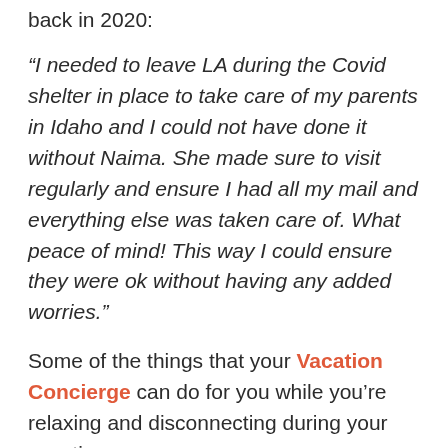back in 2020:
“I needed to leave LA during the Covid shelter in place to take care of my parents in Idaho and I could not have done it without Naima. She made sure to visit regularly and ensure I had all my mail and everything else was taken care of. What peace of mind! This way I could ensure they were ok without having any added worries.”
Some of the things that your Vacation Concierge can do for you while you’re relaxing and disconnecting during your vacation